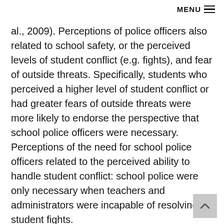MENU ≡
al., 2009). Perceptions of police officers also related to school safety, or the perceived levels of student conflict (e.g. fights), and fear of outside threats. Specifically, students who perceived a higher level of student conflict or had greater fears of outside threats were more likely to endorse the perspective that school police officers were necessary. Perceptions of the need for school police officers related to the perceived ability to handle student conflict: school police were only necessary when teachers and administrators were incapable of resolving student fights.
Overall, students offered opinions on ways in which school police officers can build trust and improve relationships with students. These small, but potentially impactful acts include, being more involved in the school community (e.g., attending sport games), getting to actually know students…